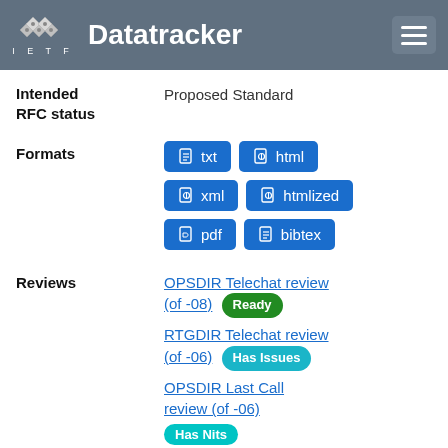IETF Datatracker
Intended RFC status: Proposed Standard
Formats: txt, html, xml, htmllized, pdf, bibtex
Reviews: OPSDIR Telechat review (of -08) Ready; RTGDIR Telechat review (of -06) Has Issues; OPSDIR Last Call review (of -06) Has Nits; GENART Last Call review (of -06)